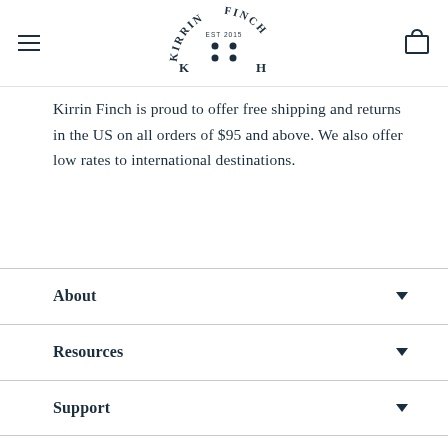Kirrin Finch EST 2015 [logo]
Kirrin Finch is proud to offer free shipping and returns in the US on all orders of $95 and above. We also offer low rates to international destinations.
About
Resources
Support